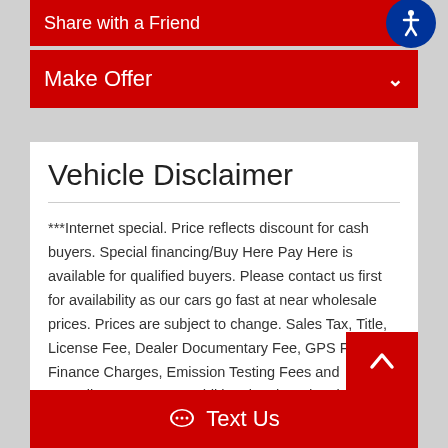Share with a Friend
Make Offer
Vehicle Disclaimer
***Internet special. Price reflects discount for cash buyers. Special financing/Buy Here Pay Here is available for qualified buyers. Please contact us first for availability as our cars go fast at near wholesale prices. Prices are subject to change. Sales Tax, Title, License Fee, Dealer Documentary Fee, GPS Fee, Finance Charges, Emission Testing Fees and Compliance Fees are additional to the advertised price. All options and conditions of the vehicles must be verified with the dealer, any descriptions or options that are listed maybe incorrect due automatic data transfer.***
Text Us